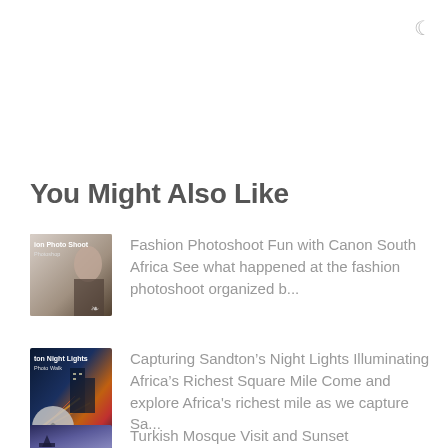You Might Also Like
[Figure (photo): Thumbnail image for Fashion Photoshoot with Canon South Africa article]
Fashion Photoshoot Fun with Canon South Africa See what happened at the fashion photoshoot organized b...
[Figure (photo): Thumbnail image for Capturing Sandton's Night Lights article showing city lights at night]
Capturing Sandton’s Night Lights Illuminating Africa’s Richest Square Mile Come and explore Africa's richest mile as we capture Sa...
[Figure (photo): Thumbnail image for Turkish Mosque Visit and Sunset article]
Turkish Mosque Visit and Sunset